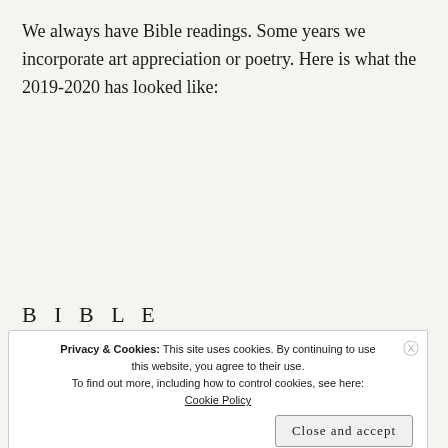We always have Bible readings. Some years we incorporate art appreciation or poetry. Here is what the 2019-2020 has looked like:
[Figure (screenshot): WooCommerce advertisement banner: dark purple background with teal triangle, text 'Turn your hobby into', orange circle on right, 'WooCommerce' logo in white on left. Labeled 'Advertisements' above.]
B I B L E
Privacy & Cookies: This site uses cookies. By continuing to use this website, you agree to their use. To find out more, including how to control cookies, see here: Cookie Policy
Close and accept